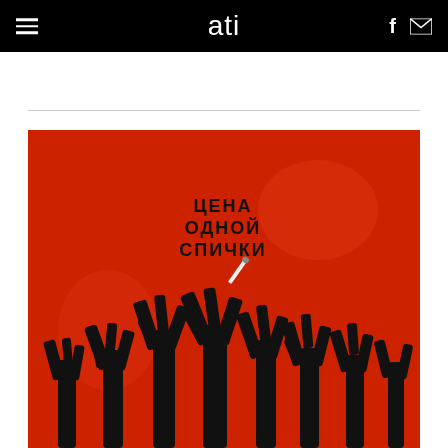ati
[Figure (illustration): Soviet-era fire safety propaganda poster with red background. Russian text reads 'ЦЕНА ОДНОЙ СПИЧКИ' (The price of one match). Shows a white match falling and silhouettes of burnt/charred tree stumps in black against the red background.]